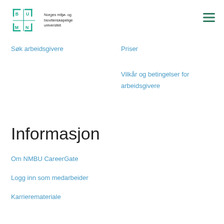[Figure (logo): NMBU logo with teal/green bracket letters N, M, B, U forming a grid symbol, with text 'Norges miljø- og biovitenskapelige universitet']
Søk arbeidsgivere
Priser
Vilkår og betingelser for arbeidsgivere
Informasjon
Om NMBU CareerGate
Logg inn som medarbeider
Karrieremateriale